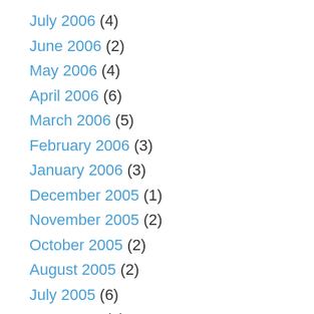July 2006 (4)
June 2006 (2)
May 2006 (4)
April 2006 (6)
March 2006 (5)
February 2006 (3)
January 2006 (3)
December 2005 (1)
November 2005 (2)
October 2005 (2)
August 2005 (2)
July 2005 (6)
June 2005 (4)
May 2005 (5)
April 2005 (4)